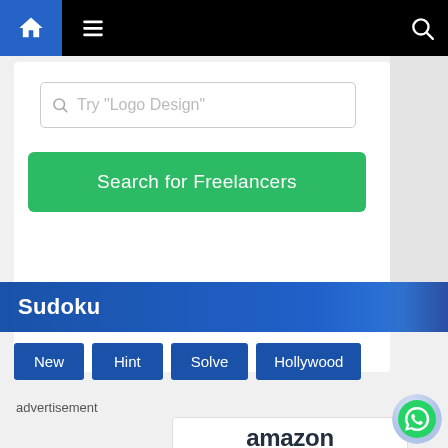[Figure (screenshot): Navigation bar with home icon, hamburger menu, and search icon on black background with blue home button]
[Figure (screenshot): Search box with placeholder text 'Try Logo Design' and a green 'Search for Freelancers' button]
Sudoku
New
Hint
Solve
Hollywood
advertisement
[Figure (screenshot): Amazon advertisement showing 'amazon' logo with smile and 'All-New M-Series' text in orange]
[Figure (logo): WhatsApp circular button with phone icon]